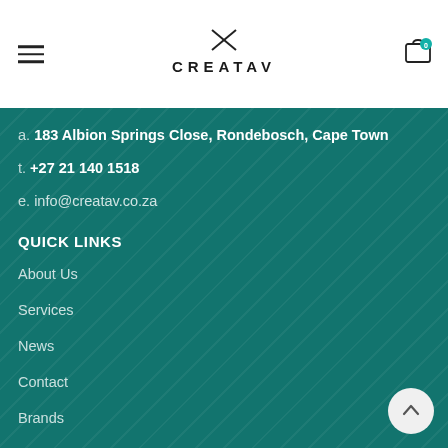CREATAV — navigation header with logo, hamburger menu, and cart icon
a. 183 Albion Springs Close, Rondebosch, Cape Town
t. +27 21 140 1518
e. info@creatav.co.za
QUICK LINKS
About Us
Services
News
Contact
Brands